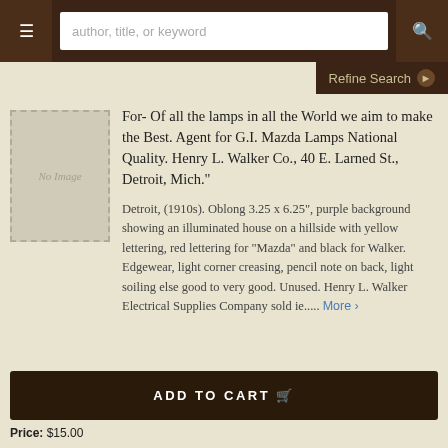author, title, or keyword
Refine Search
[Figure (illustration): No Image placeholder — grey rectangle with dashed border and italic 'No Image' text]
For- Of all the lamps in all the World we aim to make the Best. Agent for G.I. Mazda Lamps National Quality. Henry L. Walker Co., 40 E. Larned St., Detroit, Mich."
Detroit, (1910s). Oblong 3.25 x 6.25", purple background showing an illuminated house on a hillside with yellow lettering, red lettering for "Mazda" and black for Walker. Edgewear, light corner creasing, pencil note on back, light soiling else good to very good. Unused. Henry L. Walker Electrical Supplies Company sold ie..... More ›
ADD TO CART
Price: $15.00